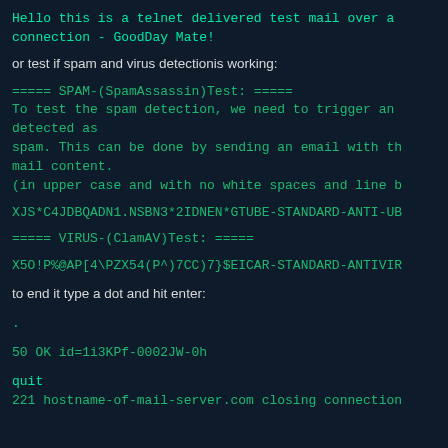Hello this is a telnet delivered test mail over a connection - GoodDay Mate!
or test if spam and virus detectionis working:
===== SPAM-(SpamAssassin)Test: =====
To test the spam detection, we need to trigger an detected as
spam. This can be done by sending an email with th mail content.
(in upper case and with no white spaces and line b
XJS*C4JDBQADN1.NSBN3*2IDNEN*GTUBE-STANDARD-ANTI-UB
===== VIRUS-(ClamAV)Test: =====
X5O!P%@AP[4\PZX54(P^)7CC)7}$EICAR-STANDARD-ANTIVIR
to end it type a dot and hit enter:
.
50 OK id=1i3KPf-0002JW-0h
quit
221 hostname-of-mail-server.com closing connection